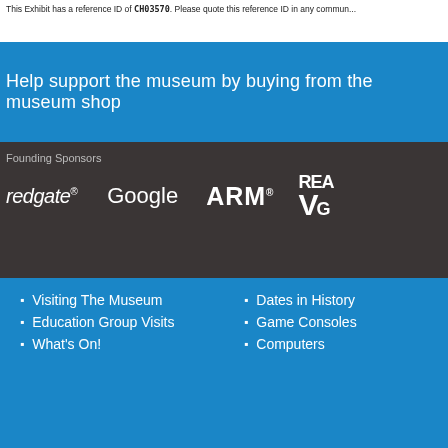This Exhibit has a reference ID of CH03570. Please quote this reference ID in any commun...
Help support the museum by buying from the museum shop
Founding Sponsors
[Figure (logo): Logos of founding sponsors: redgate, Google, ARM, and a partially visible fourth logo (Real VGA or similar)]
Visiting The Museum
Education Group Visits
What's On!
Dates in History
Game Consoles
Computers